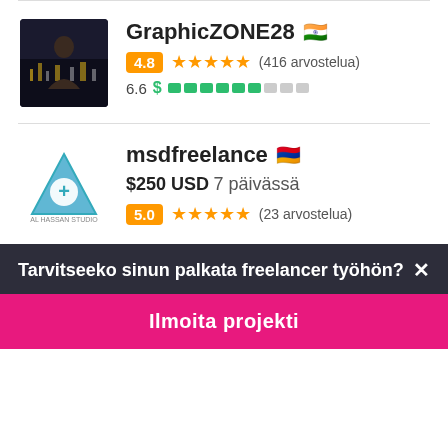[Figure (photo): Profile photo of GraphicZONE28, dark background cityscape image]
GraphicZONE28 🇮🇳
4.8 ★★★★★ (416 arvostelua)
6.6 $ ▓▓▓▓▓▓░░░
[Figure (logo): msdfreelance logo - green triangle with plus sign]
msdfreelance 🇦🇲
$250 USD 7 päivässä
5.0 ★★★★★ (23 arvostelua)
Tarvitseeko sinun palkata freelancer työhön?✗
Ilmoita projekti